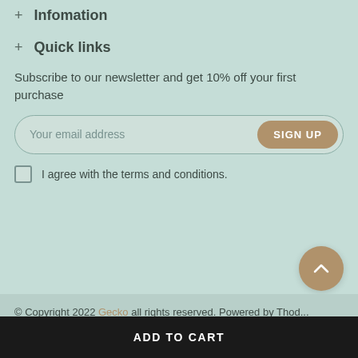+ Infomation
+ Quick links
Subscribe to our newsletter and get 10% off your first purchase
[Figure (other): Email subscription form with placeholder 'Your email address' and a brown 'SIGN UP' button]
I agree with the terms and conditions.
[Figure (other): Brown circular scroll-to-top button with upward chevron arrow]
© Copyright 2022 Gecko all rights reserved. Powered by Thod...
ADD TO CART